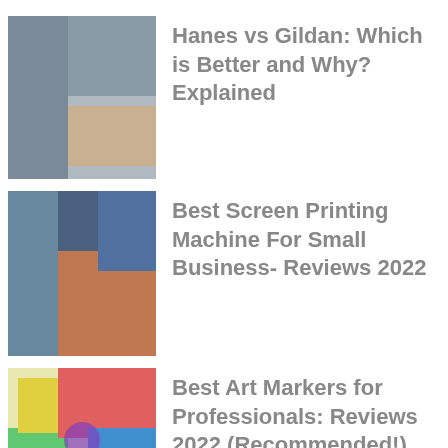Hanes vs Gildan: Which is Better and Why? Explained
Best Screen Printing Machine For Small Business- Reviews 2022
Best Art Markers for Professionals: Reviews 2022 (Recommended!)
Best Iron-on Transfer Paper Reviews: 2022 (Updated!)
Best Printer for Heat Transfers: Reviews 2022 (Recommended!)
Best Sewing Machine for Quilting: Reviews in 2022
Punch needle vs